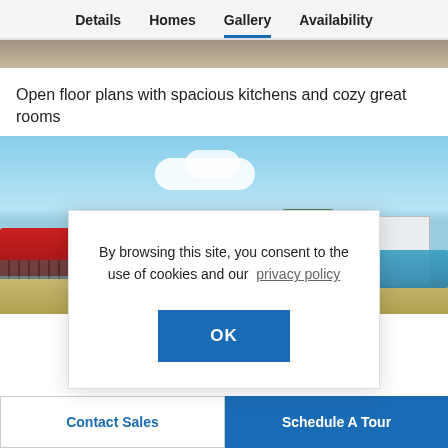Details  Homes  Gallery  Availability
[Figure (photo): Partial view of an interior or exterior area, cropped strip at top]
Open floor plans with spacious kitchens and cozy great rooms
[Figure (photo): Outdoor community pool area with lounge chairs, red awning/pergola, white fence, and blue sky with clouds]
By browsing this site, you consent to the use of cookies and our privacy policy
OK
Contact Sales
Schedule A Tour